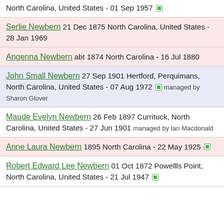North Carolina, United States - 01 Sep 1957
Serlie Newbern 21 Dec 1875 North Carolina, United States - 28 Jan 1969
Angenna Newbern abt 1874 North Carolina - 16 Jul 1880
John Small Newbern 27 Sep 1901 Hertford, Perquimans, North Carolina, United States - 07 Aug 1972 managed by Sharon Glover
Maude Evelyn Newbern 26 Feb 1897 Currituck, North Carolina, United States - 27 Jun 1901 managed by Ian Macdonald
Anne Laura Newbern 1895 North Carolina - 22 May 1925
Robert Edward Lee Newbern 01 Oct 1872 Powellls Point, North Carolina, United States - 21 Jul 1947